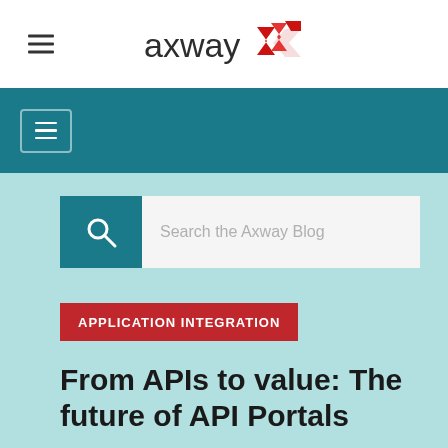[Figure (logo): Axway logo with red chevron/arrow icon and 'axway' text in dark gray]
[Figure (screenshot): Teal navigation bar with hamburger menu icon in a bordered box]
[Figure (screenshot): Search bar on light teal background with teal search icon box and placeholder text 'Search the Axway Blog']
APPLICATION INTEGRATION
From APIs to value: The future of API Portals